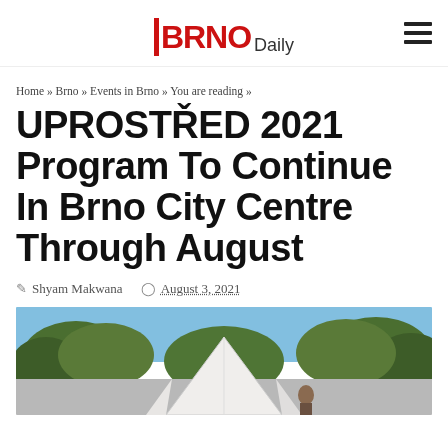BRNO Daily
Home » Brno » Events in Brno » You are reading »
UPROSTŘED 2021 Program To Continue In Brno City Centre Through August
Shyam Makwana   August 3, 2021
[Figure (photo): Outdoor photo showing a white tent structure with green trees in the background against a blue sky, taken at a park or public space in Brno.]